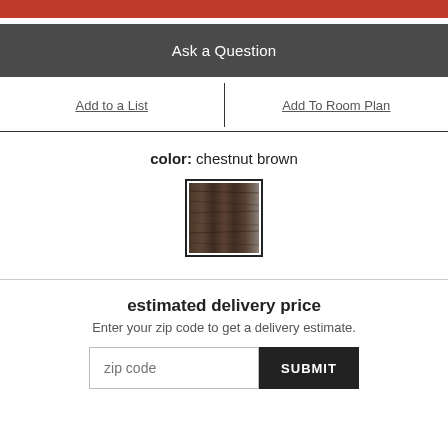Ask a Question
Add to a List | Add To Room Plan
color: chestnut brown
[Figure (photo): Color swatch showing chestnut brown wood grain texture]
estimated delivery price
Enter your zip code to get a delivery estimate.
zip code  SUBMIT